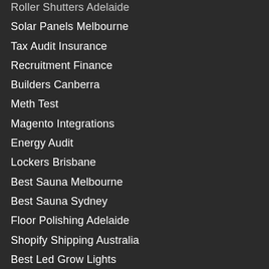Roller Shutters Adelaide
Solar Panels Melbourne
Tax Audit Insurance
Recruitment Finance
Builders Canberra
Meth Test
Magento Integrations
Energy Audit
Lockers Brisbane
Best Sauna Melbourne
Best Sauna Sydney
Floor Polishing Adelaide
Shopify Shipping Australia
Best Led Grow Lights
Commercial Led Lighting
Water Heat Pumps
Hydraulic Cylinder Repair
Coffee Roasters Adelaide
Woocommerce Delivery Plugin
Workplace Health and Wellbeing